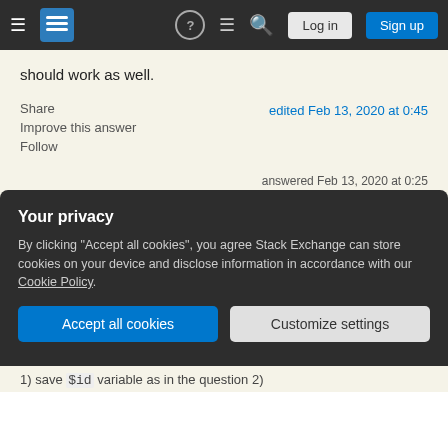Stack Exchange navigation bar with Log in and Sign up buttons
should work as well.
Share
Improve this answer
Follow
edited Feb 13, 2020 at 0:45
answered Feb 13, 2020 at 0:25
steeldriver
73.1k  11  96  140
Interestingly, your first 2 suggestions continued to
Your privacy
By clicking "Accept all cookies", you agree Stack Exchange can store cookies on your device and disclose information in accordance with our Cookie Policy.
1) save `$id` variable as in the question 2)